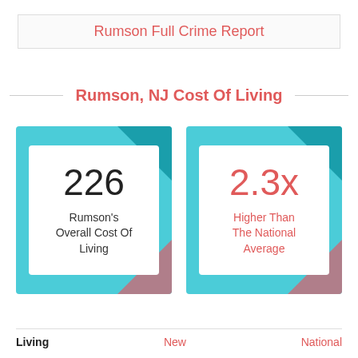Rumson Full Crime Report
Rumson, NJ Cost Of Living
[Figure (infographic): Two infographic cards on cyan/teal background. Left card shows '226' and 'Rumson's Overall Cost Of Living'. Right card shows '2.3x' (in red) and 'Higher Than The National Average' (in red).]
Living   New   National